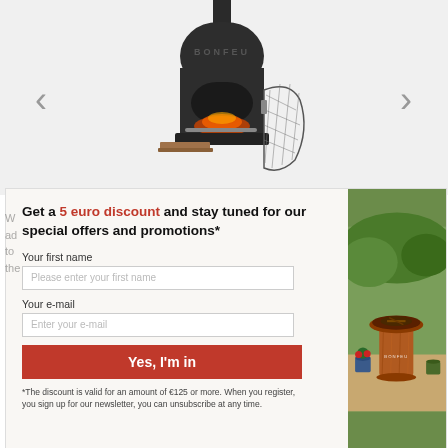[Figure (photo): BONFEU outdoor chiminea/pizza oven product on white background with open mesh door revealing fire and grill, with navigation arrows on either side]
Get a 5 euro discount and stay tuned for our special offers and promotions*
Your first name
Please enter your first name
Your e-mail
Enter your e-mail
Yes, I'm in
*The discount is valid for an amount of €125 or more. When you register, you sign up for our newsletter, you can unsubscribe at any time.
[Figure (photo): BONFEU rust/corten steel fire bowl on pedestal in garden setting with plants and flowers]